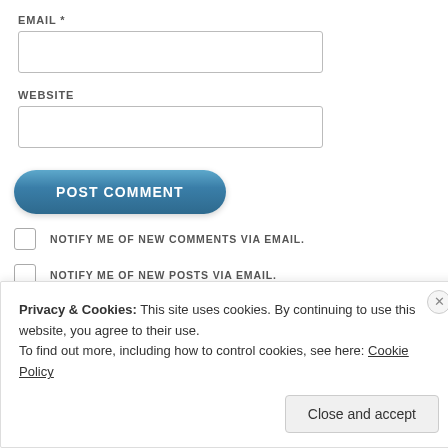EMAIL *
[Figure (other): Email input text field (empty)]
WEBSITE
[Figure (other): Website input text field (empty)]
[Figure (other): POST COMMENT button (blue rounded)]
NOTIFY ME OF NEW COMMENTS VIA EMAIL.
NOTIFY ME OF NEW POSTS VIA EMAIL.
Privacy & Cookies: This site uses cookies. By continuing to use this website, you agree to their use. To find out more, including how to control cookies, see here: Cookie Policy
Close and accept